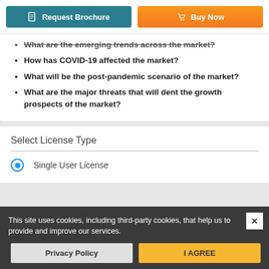[Figure (screenshot): Request Brochure button (teal) and Buy Now button (orange) side by side]
What are the emerging trends across the market?
How has COVID-19 affected the market?
What will be the post-pandemic scenario of the market?
What are the major threats that will dent the growth prospects of the market?
Select License Type
Single User License
Multiple User License
This site uses cookies, including third-party cookies, that help us to provide and improve our services.
Privacy Policy
I AGREE